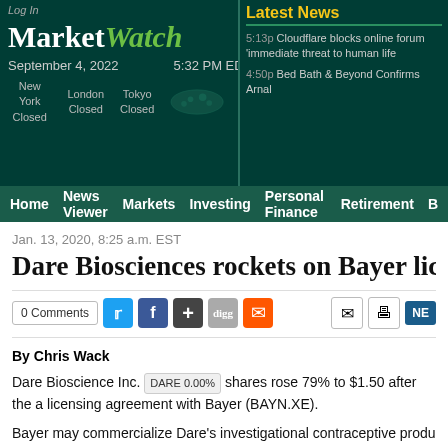MarketWatch — Log In | September 4, 2022 5:32 PM EDT | DOW -337.98 31,318.44 -1.07% | NASDAQ -154 11,630.86 -1.3%
Latest News
5:13p Cloudflare blocks online forum 'immediate threat to human life
4:50p Bed Bath & Beyond Confirms Arnal
New York Closed | London Closed | Tokyo Closed
Home | News Viewer | Markets | Investing | Personal Finance | Retirement | B
Jan. 13, 2020, 8:25 a.m. EST
Dare Biosciences rockets on Bayer lice
0 Comments
By Chris Wack
Dare Bioscience Inc. DARE 0.00% shares rose 79% to $1.50 after the a licensing agreement with Bayer (BAYN.XE).
Bayer may commercialize Dare's investigational contraceptive produ U.S. once approved by the U.S. Food and Drug Administration, Dare s